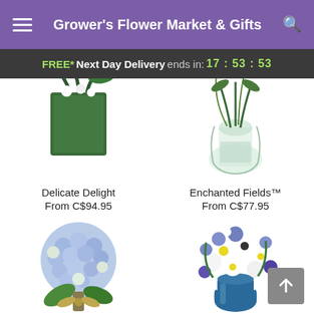Grower's Flower Market & Gifts
FREE* Next Day Delivery ends in: 17:53:53
[Figure (photo): Delicate Delight flower arrangement in a green square vase, partially cropped at top]
Delicate Delight
From C$94.95
[Figure (photo): Enchanted Fields flower arrangement in a clear round vase, partially cropped at top]
Enchanted Fields™
From C$77.95
[Figure (photo): Blue hydrangea bouquet tied with a ribbon bow]
[Figure (photo): Mixed blue and white flower arrangement in a blue vase]